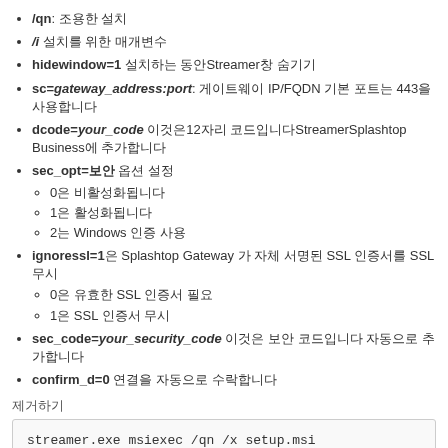/qn: 조용한 설치
/i 설치를 위한 매개변수
hidewindow=1 설치하는 동안Streamer창 숨기기
sc=gateway_address:port: 게이트웨이 IP/FQDN 기본 포트는 443을 사용합니다
dcode=your_code 이것은12자리 코드입니다StreamerSplashtop Business에 추가합니다
sec_opt=보안 옵션 설정
0은 비활성화됩니다
1은 활성화됩니다
2는 Windows 인증 사용
ignoressl=1은 Splashtop Gateway 가 자체 서명된 SSL 인증서를 SSL 무시
0은 유효한 SSL 인증서 필요
1은 SSL 인증서 무시
sec_code=your_security_code 이것은 보안 코드입니다 자동으로 추가합니다
confirm_d=0 연결을 자동으로 수락합니다
제거하기
streamer.exe msiexec /qn /x setup.msi
명령줄에서 EXE 및 MSI 구분